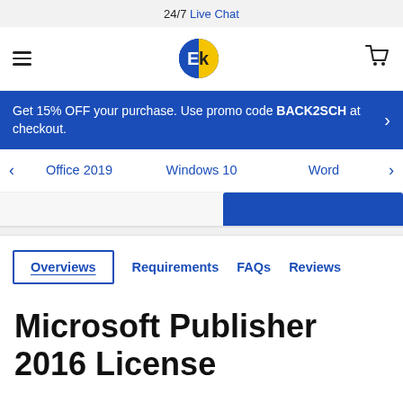24/7 Live Chat
[Figure (logo): EK logo — blue and yellow circular icon with letter E and K]
Get 15% OFF your purchase. Use promo code BACK2SCH at checkout.
Office 2019   Windows 10   Word
Overviews   Requirements   FAQs   Reviews
Microsoft Publisher 2016 License